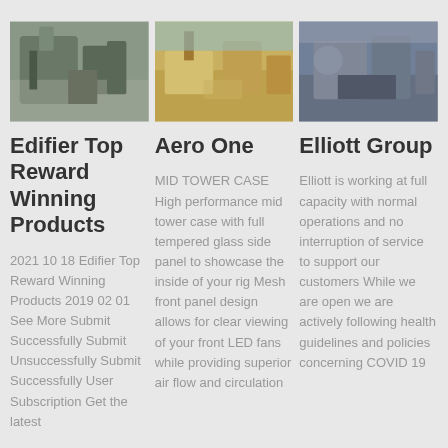[Figure (photo): Industrial machinery / equipment photo 1]
[Figure (photo): Industrial machinery / mining equipment photo 2]
[Figure (photo): Industrial machinery / equipment photo 3]
Edifier Top Reward Winning Products
Aero One
Elliott Group
2021 10 18 Edifier Top Reward Winning Products 2019 02 01 See More Submit Successfully Submit Unsuccessfully Submit Successfully User Subscription Get the latest
MID TOWER CASE High performance mid tower case with full tempered glass side panel to showcase the inside of your rig Mesh front panel design allows for clear viewing of your front LED fans while providing superior air flow and circulation
Elliott is working at full capacity with normal operations and no interruption of service to support our customers While we are open we are actively following health guidelines and policies concerning COVID 19